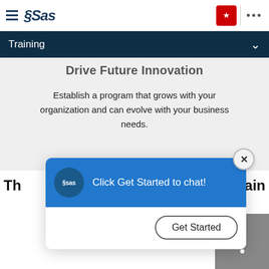SAS Training
Drive Future Innovation
Establish a program that grows with your organization and can evolve with your business needs.
[Figure (screenshot): SAS chat popup with 'Click Get Started to chat!' and a 'Get Started' button]
Th... Gain, Train